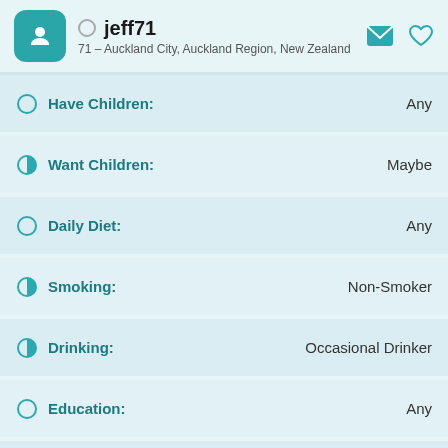jeff71 — 71 – Auckland City, Auckland Region, New Zealand
Have Children: Any
Want Children: Maybe
Daily Diet: Any
Smoking: Non-Smoker
Drinking: Occasional Drinker
Education: Any
Occupation: Any
Income: Any